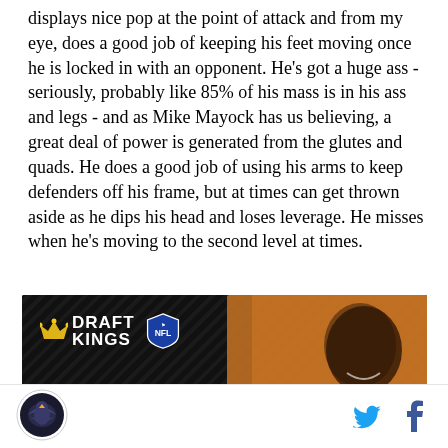displays nice pop at the point of attack and from my eye, does a good job of keeping his feet moving once he is locked in with an opponent. He's got a huge ass - seriously, probably like 85% of his mass is in his ass and legs - and as Mike Mayock has us believing, a great deal of power is generated from the glutes and quads. He does a good job of using his arms to keep defenders off his frame, but at times can get thrown aside as he dips his head and loses leverage. He misses when he's moving to the second level at times.
[Figure (other): DraftKings NFL advertisement banner with 'GET UP 7.' text and a person on right side against orange background]
Site logo on left, Twitter and Facebook icons on right